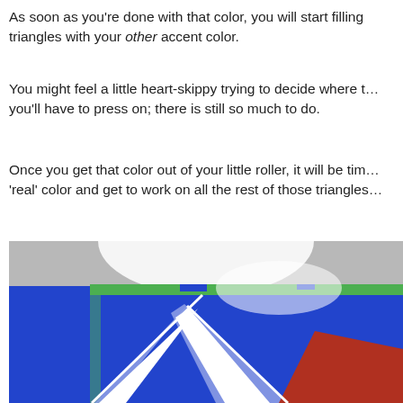As soon as you’re done with that color, you will start filling triangles with your other accent color.
You might feel a little heart-skippy trying to decide where to start; you'll have to press on; there is still so much to do.
Once you get that color out of your little roller, it will be time to load your 'real' color and get to work on all the rest of those triangles.
[Figure (photo): A wall painted with blue paint forming triangles, with white tape lines still on the surface forming triangle borders, and a partial red triangular section visible in the lower right. Green tape borders the edge of the wall. Bright light glows from the top center of the image.]